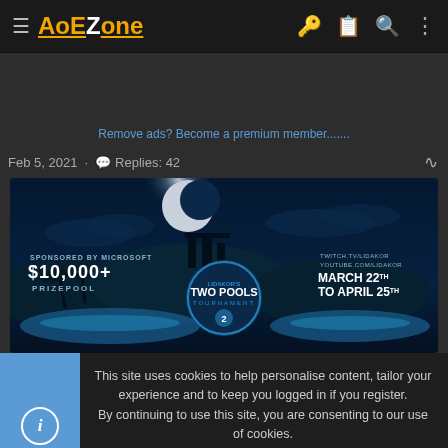AoEZone
Remove ads? Become a premium member.......
Feb 5, 2021 · Replies: 42
[Figure (illustration): Tournament banner for 'Two Pools Tournament 2' with $10,000+ prize pool sponsored by Microsoft, March 22nd to April 25th, Twitch.tv/Lidakor, Youtube.com/Lidakor. Dark blue night scene with castle silhouette and moon.]
This site uses cookies to help personalise content, tailor your experience and to keep you logged in if you register. By continuing to use this site, you are consenting to our use of cookies.
✓ Accept   Learn more...